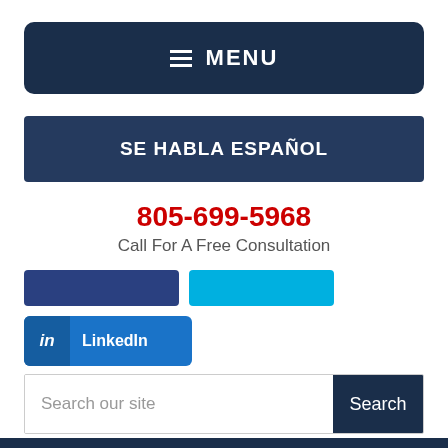≡ MENU
SE HABLA ESPAÑOL
805-699-5968
Call For A Free Consultation
[Figure (other): Social media buttons row: dark blue button, cyan button, LinkedIn button]
Search our site
Search